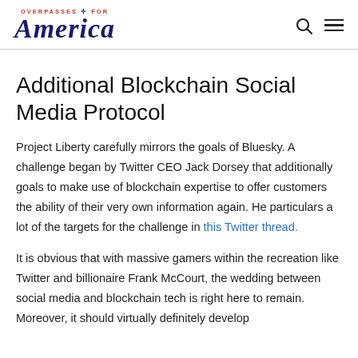OVERPASSES FOR America
Additional Blockchain Social Media Protocol
Project Liberty carefully mirrors the goals of Bluesky. A challenge began by Twitter CEO Jack Dorsey that additionally goals to make use of blockchain expertise to offer customers the ability of their very own information again. He particulars a lot of the targets for the challenge in this Twitter thread.
It is obvious that with massive gamers within the recreation like Twitter and billionaire Frank McCourt, the wedding between social media and blockchain tech is right here to remain. Moreover, it should virtually definitely develop